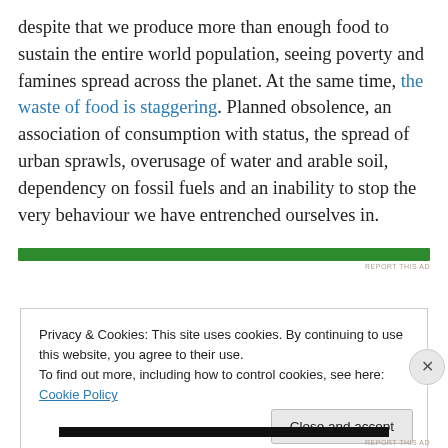despite that we produce more than enough food to sustain the entire world population, seeing poverty and famines spread across the planet. At the same time, the waste of food is staggering. Planned obsolence, an association of consumption with status, the spread of urban sprawls, overusage of water and arable soil, dependency on fossil fuels and an inability to stop the very behaviour we have entrenched ourselves in.
[Figure (other): Green horizontal advertisement bar with 'REPORT THIS AD' text label]
Privacy & Cookies: This site uses cookies. By continuing to use this website, you agree to their use. To find out more, including how to control cookies, see here: Cookie Policy